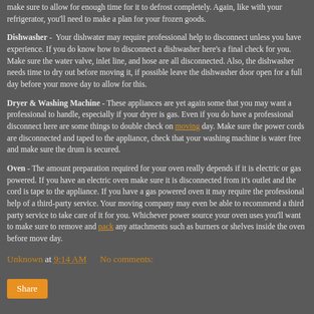make sure to allow for enough time for it to defrost completely. Again, like with your refrigerator, you'll need to make a plan for your frozen goods.
Dishwasher - Your dishwater may require professional help to disconnect unless you have experience. If you do know how to disconnect a dishwasher here's a final check for you. Make sure the water valve, inlet line, and hose are all disconnected. Also, the dishwasher needs time to dry out before moving it, if possible leave the dishwasher door open for a full day before your move day to allow for this.
Dryer & Washing Machine - These appliances are yet again some that you may want a professional to handle, especially if your dryer is gas. Even if you do have a professional disconnect here are some things to double check on moving day. Make sure the power cords are disconnected and taped to the appliance, check that your washing machine is water free and make sure the drum is secured.
Oven - The amount preparation required for your oven really depends if it is electric or gas powered. If you have an electric oven make sure it is disconnected from it's outlet and the cord is tape to the appliance. If you have a gas powered oven it may require the professional help of a third-party service. Your moving company may even be able to recommend a third party service to take care of it for you. Whichever power source your oven uses you'll want to make sure to remove and pack any attachments such as burners or shelves inside the oven before move day.
Unknown at 9:14 AM    No comments:
Share